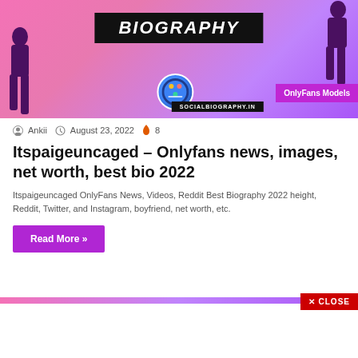[Figure (illustration): Social biography website hero banner with pink-purple gradient background, silhouette figures, BIOGRAPHY text banner, socialbiography.in logo and site label, OnlyFans Models badge in purple]
Ankii · August 23, 2022 · 8
Itspaigeuncaged – Onlyfans news, images, net worth, best bio 2022
Itspaigeuncaged OnlyFans News, Videos, Reddit Best Biography 2022 height, Reddit, Twitter, and Instagram, boyfriend, net worth, etc.
Read More »